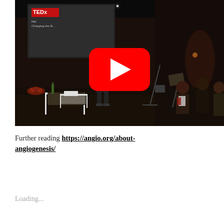[Figure (screenshot): YouTube video thumbnail showing a TEDx talk on angiogenesis. A speaker stands at a podium on a dark stage with a projection screen showing 'TEDx' logo and 'Changing the...' text. Audience members are visible on the right side. A YouTube play button overlay is centered on the image.]
Further reading https://angio.org/about-angiogenesis/
Loading...